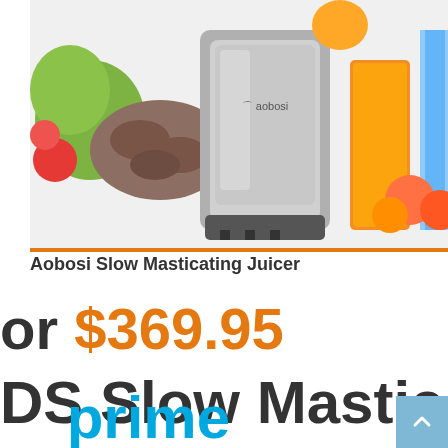[Figure (photo): Product photo of a slow masticating juicer (aobosi brand) with fruits and nuts in background]
Aobosi Slow Masticating Juicer
or $369.95
DS Slow Masticat
prime